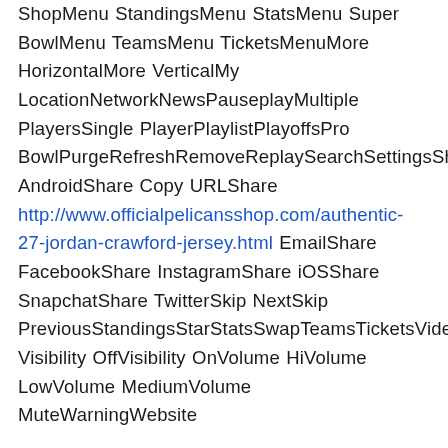ShopMenu StandingsMenu StatsMenu Super BowlMenu TeamsMenu TicketsMenuMore HorizontalMore VerticalMy LocationNetworkNewsPauseplayMultiple PlayersSingle PlayerPlaylistPlayoffsPro BowlPurgeRefreshRemoveReplaySearchSettingsShare AndroidShare Copy URLShare http://www.officialpelicansshop.com/authentic-27-jordan-crawford-jersey.html EmailShare FacebookShare InstagramShare iOSShare SnapchatShare TwitterSkip NextSkip PreviousStandingsStarStatsSwapTeamsTicketsVideo Visibility OffVisibility OnVolume HiVolume LowVolume MediumVolume MuteWarningWebsite